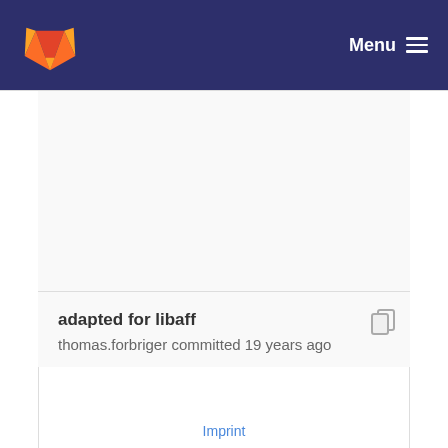Menu
adapted for libaff
thomas.forbriger committed 19 years ago
Imprint